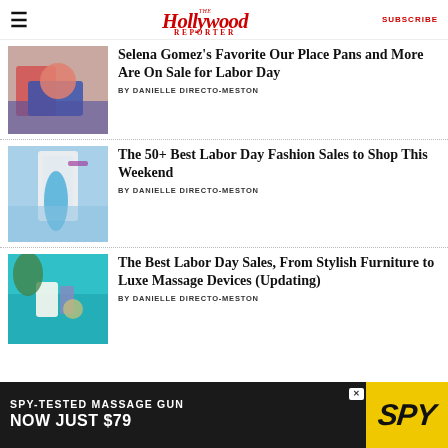The Hollywood Reporter | SUBSCRIBE
Selena Gomez's Favorite Our Place Pans and More Are On Sale for Labor Day
BY DANIELLE DIRECTO-MESTON
The 50+ Best Labor Day Fashion Sales to Shop This Weekend
BY DANIELLE DIRECTO-MESTON
The Best Labor Day Sales, From Stylish Furniture to Luxe Massage Devices (Updating)
BY DANIELLE DIRECTO-MESTON
[Figure (infographic): Ad banner: SPY-TESTED MASSAGE GUN NOW JUST $79 with SPY logo on yellow background]